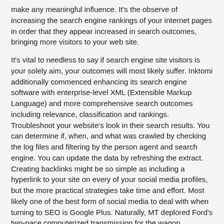make any meaningful influence. It's the observe of increasing the search engine rankings of your internet pages in order that they appear increased in search outcomes, bringing more visitors to your web site.
It's vital to needless to say if search engine site visitors is your solely aim, your outcomes will most likely suffer. Inktomi additionally commenced enhancing its search engine software with enterprise-level XML (Extensible Markup Language) and more comprehensive search outcomes including relevance, classification and rankings. Troubleshoot your website's look in their search results. You can determine if, when, and what was crawled by checking the log files and filtering by the person agent and search engine. You can update the data by refreshing the extract. Creating backlinks might be so simple as including a hyperlink to your site on every of your social media profiles, but the more practical strategies take time and effort. Most likely one of the best form of social media to deal with when turning to SEO is Google Plus. Naturally, MT deplored Ford's two-pace computerized transmission for the wagon, suggesting that a 195-horsepower, 289-cubic-inch V-8 with Cruise-O-Matic would be the only option. The usual transmission was a 3-pace handbook with a column-mounted gearshift totally acquainted to Ford followers. Road-testers at Motor Pattern disliked the two-pace automatic transmission.